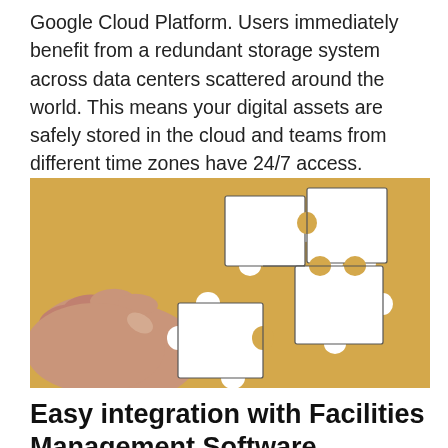Google Cloud Platform. Users immediately benefit from a redundant storage system across data centers scattered around the world. This means your digital assets are safely stored in the cloud and teams from different time zones have 24/7 access.
[Figure (photo): A hand holding a white puzzle piece, fitting it into a group of interlocking puzzle pieces on a tan/yellow background.]
Easy integration with Facilities Management Software